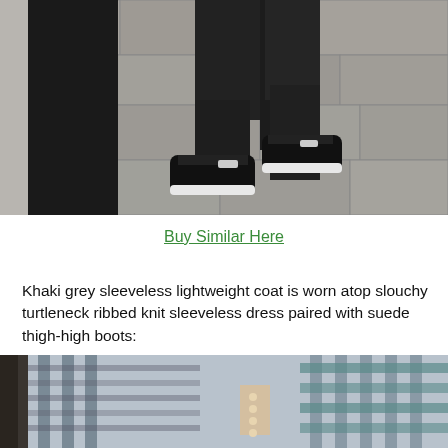[Figure (photo): Street photography shot from above showing a person wearing a long black coat and black leather pants with black and white sneakers, standing on a stone paved surface.]
Buy Similar Here
Khaki grey sleeveless lightweight coat is worn atop slouchy turtleneck ribbed knit sleeveless dress paired with suede thigh-high boots:
[Figure (photo): Partial street photo showing a person in a striped coat with buildings in the background, cropped at the top of the frame.]